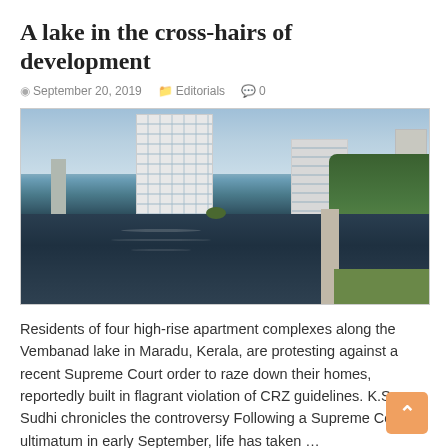A lake in the cross-hairs of development
September 20, 2019   Editorials   0
[Figure (photo): Photograph of high-rise apartment complexes reflected in a dark lake (Vembanad lake in Maradu, Kerala), with green trees and a walkway on the right side, under a partly cloudy sky.]
Residents of four high-rise apartment complexes along the Vembanad lake in Maradu, Kerala, are protesting against a recent Supreme Court order to raze down their homes, reportedly built in flagrant violation of CRZ guidelines. K.S. Sudhi chronicles the controversy Following a Supreme Court ultimatum in early September, life has taken …
Read More »